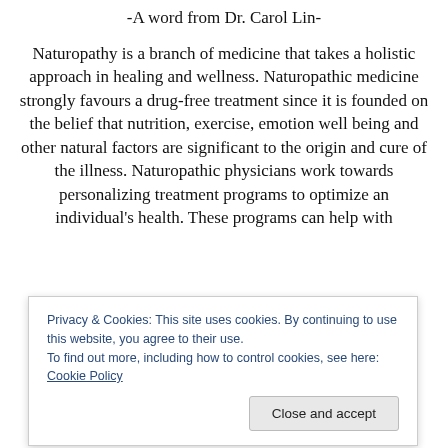-A word from Dr. Carol Lin-
Naturopathy is a branch of medicine that takes a holistic approach in healing and wellness. Naturopathic medicine strongly favours a drug-free treatment since it is founded on the belief that nutrition, exercise, emotion well being and other natural factors are significant to the origin and cure of the illness. Naturopathic physicians work towards personalizing treatment programs to optimize an individual's health. These programs can help with
Privacy & Cookies: This site uses cookies. By continuing to use this website, you agree to their use.
To find out more, including how to control cookies, see here: Cookie Policy
optimize your physical, mental and spiritual health.  For